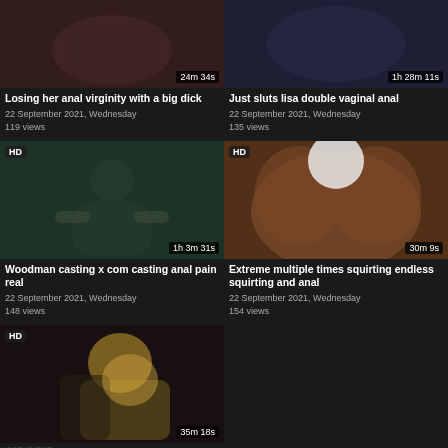[Figure (screenshot): Video thumbnail 1 - duration 24m 34s]
Losing her anal virginity with a big dick
22 September 2021, Wednesday
119 views
[Figure (screenshot): Video thumbnail 2 - duration 1h 28m 11s]
Just sluts lisa double vaginal anal
22 September 2021, Wednesday
135 views
[Figure (screenshot): Video thumbnail 3 HD - duration 1h 3m 31s]
Woodman casting x com casting anal pain real
22 September 2021, Wednesday
148 views
[Figure (screenshot): Video thumbnail 4 HD - duration 30m 9s]
Extreme multiple times squirting endless squirting and anal
22 September 2021, Wednesday
154 views
[Figure (screenshot): Video thumbnail 5 HD - duration 35m 18s]